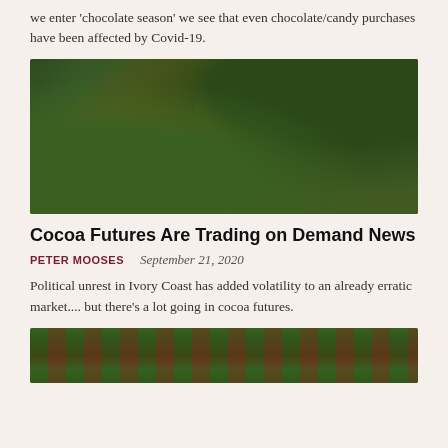we enter 'chocolate season' we see that even chocolate/candy purchases have been affected by Covid-19.
[Figure (photo): A yellow-orange cocoa pod hanging from a tree branch surrounded by green leaves]
Cocoa Futures Are Trading on Demand News
PETER MOOSES   September 21, 2020
Political unrest in Ivory Coast has added volatility to an already erratic market.... but there's a lot going in cocoa futures.
[Figure (photo): Aerial view of a cocoa or crop field with rows of plants]